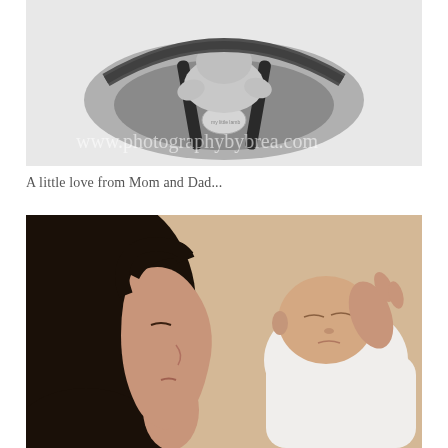[Figure (photo): Black and white photograph of a newborn baby in a car seat or baby lounger, viewed from above. A watermark reads 'www.photographybybrea.com' across the bottom of the image.]
A little love from Mom and Dad...
[Figure (photo): Color photograph with warm beige/tan background of a dark-haired woman looking down at a sleeping newborn baby she is holding up near her face. The baby is wrapped in a white cloth.]